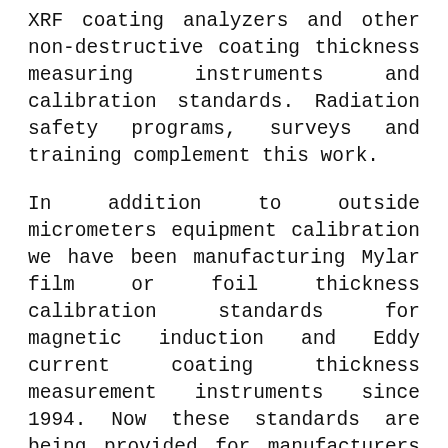XRF coating analyzers and other non-destructive coating thickness measuring instruments and calibration standards. Radiation safety programs, surveys and training complement this work.
In addition to outside micrometers equipment calibration we have been manufacturing Mylar film or foil thickness calibration standards for magnetic induction and Eddy current coating thickness measurement instruments since 1994. Now these standards are being provided for manufacturers measuring instruments using new technologies. We make the best film thickness standards in the world! We are now manufacturing film thickness standards for near-